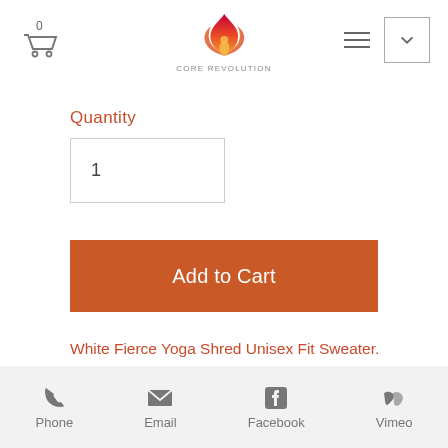[Figure (logo): Core Revolution logo — flame and lotus icon in orange/red gradient with text CORE REVOLUTION below]
Quantity
1
Add to Cart
White Fierce Yoga Shred Unisex Fit Sweater.
How to Care for your Sweater:
Phone  Email  Facebook  Vimeo